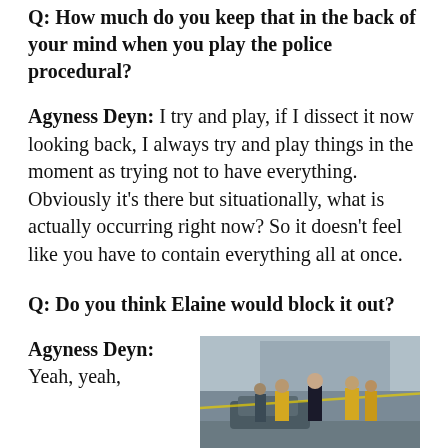Q: How much do you keep that in the back of your mind when you play the police procedural?
Agyness Deyn: I try and play, if I dissect it now looking back, I always try and play things in the moment as trying not to have everything. Obviously it's there but situationally, what is actually occurring right now? So it doesn't feel like you have to contain everything all at once.
Q: Do you think Elaine would block it out?
Agyness Deyn: Yeah, yeah,
[Figure (photo): A police scene with several people including officers in high-visibility yellow vests and a man in a dark suit walking near a car, with a building in the background and police tape visible.]